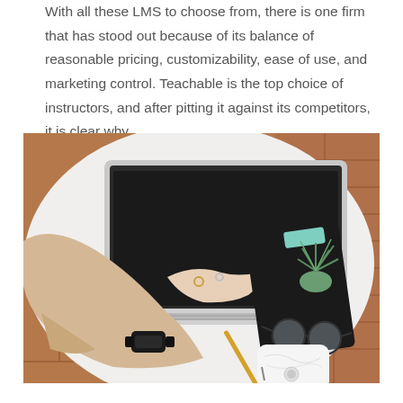With all these LMS to choose from, there is one firm that has stood out because of its balance of reasonable pricing, customizability, ease of use, and marketing control. Teachable is the top choice of instructors, and after pitting it against its competitors, it is clear why.
[Figure (photo): Overhead view of a person typing on a laptop at a white round table, with a black notebook, small plant, glasses, pencil, and white marble phone case on the table, brick floor visible in background.]